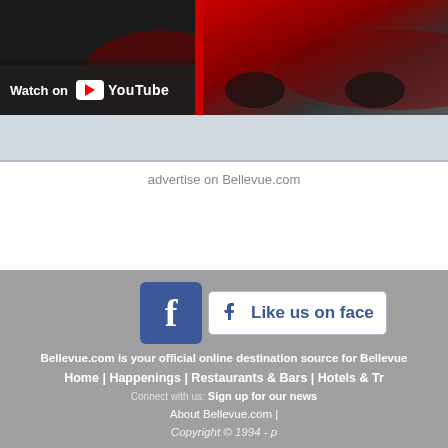[Figure (screenshot): YouTube video thumbnail showing 'Watch on YouTube' overlay button on left, with a car image (red/dark vehicle) visible on the right portion]
advertise on Bellevue.com
[Figure (screenshot): Facebook 'Like us on facebook' button with Facebook icon]
Bellevue.com is your official online destination source for Bellevue
Home | Happenings | Restaurants & Bars | Hotels & Tr
Connect with us: Sign up for our news
About Bellevue.com |
Copyright © 1994 - p